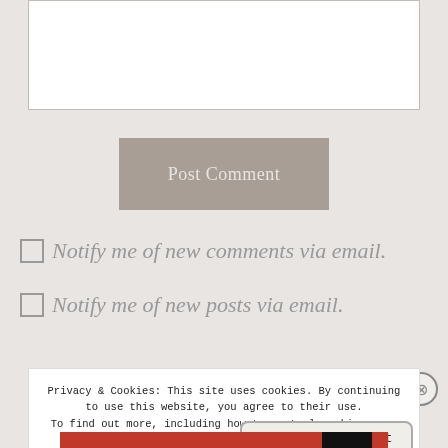[Figure (screenshot): White input text box area at top of page]
Post Comment
☐ Notify me of new comments via email.
☐ Notify me of new posts via email.
Privacy & Cookies: This site uses cookies. By continuing to use this website, you agree to their use.
To find out more, including how to control cookies, see here: Cookie Policy
Close and accept